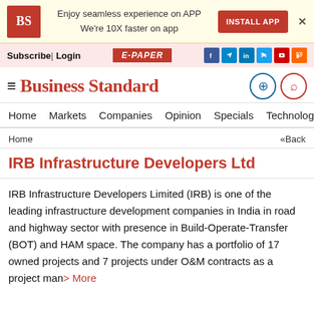Enjoy seamless experience on APP  We're 10X faster on app  INSTALL APP
Subscribe| Login  E-PAPER
Business Standard
Home  Markets  Companies  Opinion  Specials  Technology  PF  Po
Home  «Back
IRB Infrastructure Developers Ltd
IRB Infrastructure Developers Limited (IRB) is one of the leading infrastructure development companies in India in road and highway sector with presence in Build-Operate-Transfer (BOT) and HAM space. The company has a portfolio of 17 owned projects and 7 projects under O&M contracts as a project man> More